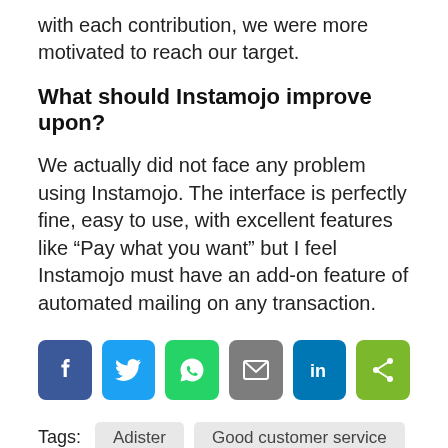with each contribution, we were more motivated to reach our target.
What should Instamojo improve upon?
We actually did not face any problem using Instamojo. The interface is perfectly fine, easy to use, with excellent features like “Pay what you want” but I feel Instamojo must have an add-on feature of automated mailing on any transaction.
[Figure (infographic): A row of six social share buttons: Facebook (blue), Twitter (blue), WhatsApp (green), Email (grey), LinkedIn (blue), Share (green).]
Tags:   Adister   Good customer service